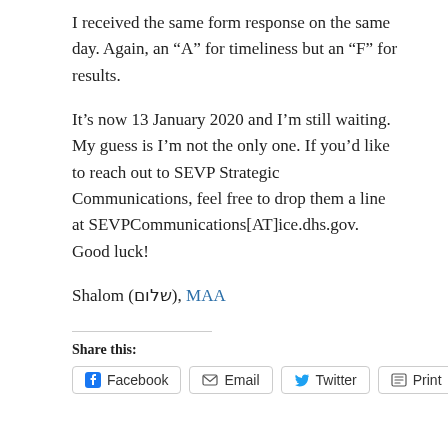I received the same form response on the same day. Again, an “A” for timeliness but an “F” for results.
It’s now 13 January 2020 and I’m still waiting. My guess is I’m not the only one. If you’d like to reach out to SEVP Strategic Communications, feel free to drop them a line at SEVPCommunications[AT]ice.dhs.gov. Good luck!
Shalom (שלום), MAA
Share this:
Facebook
Email
Twitter
Print